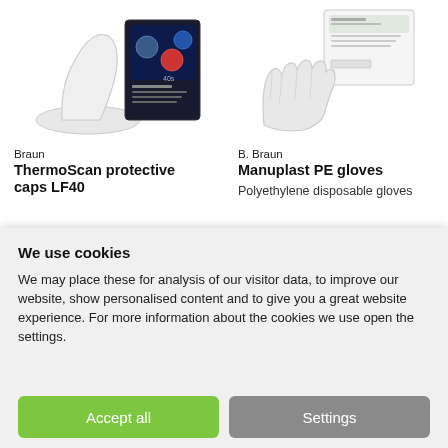[Figure (photo): Product image of Braun ThermoScan protective ear cap (LF40) - a clear plastic dome-shaped cap, and a product box showing the thermometer lense filter packaging]
Braun
ThermoScan protective caps LF40
[Figure (photo): Product image of B. Braun Manuplast PE gloves - disposable polyethylene gloves shown with packaging box]
B. Braun
Manuplast PE gloves
Polyethylene disposable gloves
We use cookies
We may place these for analysis of our visitor data, to improve our website, show personalised content and to give you a great website experience. For more information about the cookies we use open the settings.
Accept all
Settings